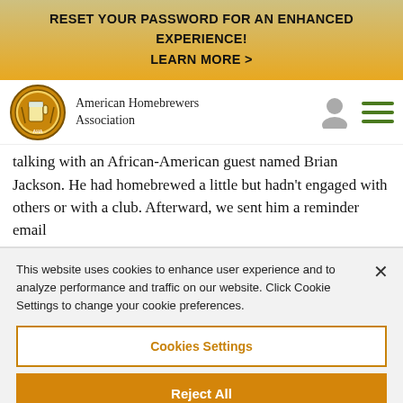RESET YOUR PASSWORD FOR AN ENHANCED EXPERIENCE!
LEARN MORE >
[Figure (logo): American Homebrewers Association circular logo with beer mug]
American Homebrewers Association
talking with an African-American guest named Brian Jackson. He had homebrewed a little but hadn't engaged with others or with a club. Afterward, we sent him a reminder email
This website uses cookies to enhance user experience and to analyze performance and traffic on our website. Click Cookie Settings to change your cookie preferences.
Cookies Settings
Reject All
Accept All Cookies